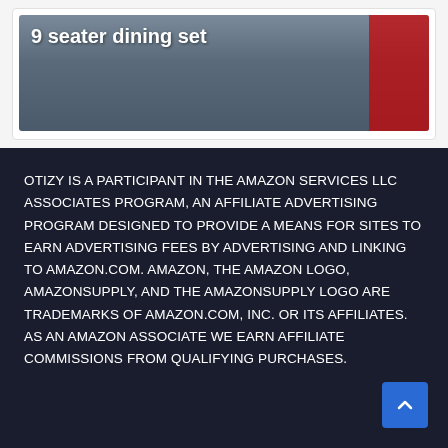[Figure (photo): A dining set image with bold white text overlay reading '9 seater dining set' on a dark background with a red accent element on the right side.]
OTIZY IS A PARTICIPANT IN THE AMAZON SERVICES LLC ASSOCIATES PROGRAM, AN AFFILIATE ADVERTISING PROGRAM DESIGNED TO PROVIDE A MEANS FOR SITES TO EARN ADVERTISING FEES BY ADVERTISING AND LINKING TO AMAZON.COM. AMAZON, THE AMAZON LOGO, AMAZONSUPPLY, AND THE AMAZONSUPPLY LOGO ARE TRADEMARKS OF AMAZON.COM, INC. OR ITS AFFILIATES. AS AN AMAZON ASSOCIATE WE EARN AFFILIATE COMMISSIONS FROM QUALIFYING PURCHASES.